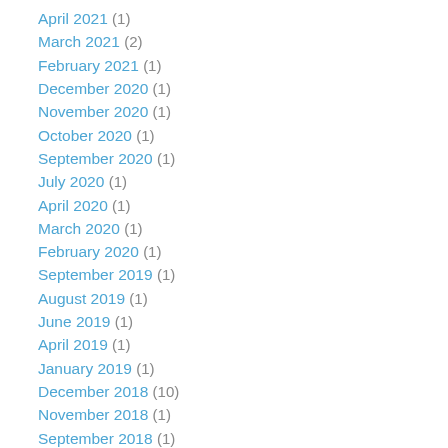April 2021 (1)
March 2021 (2)
February 2021 (1)
December 2020 (1)
November 2020 (1)
October 2020 (1)
September 2020 (1)
July 2020 (1)
April 2020 (1)
March 2020 (1)
February 2020 (1)
September 2019 (1)
August 2019 (1)
June 2019 (1)
April 2019 (1)
January 2019 (1)
December 2018 (10)
November 2018 (1)
September 2018 (1)
July 2018 (1)